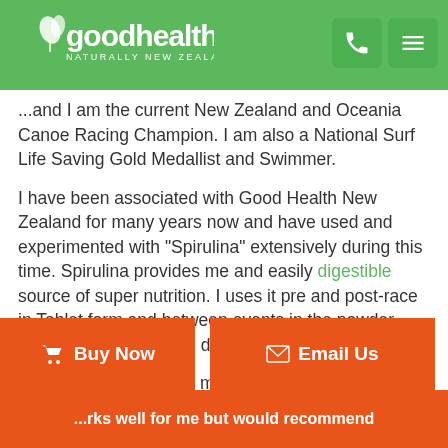Good Health Naturally New Zealand
...and I am the current New Zealand and Oceania Canoe Racing Champion. I am also a National Surf Life Saving Gold Medallist and Swimmer.
I have been associated with Good Health New Zealand for many years now and have used and experimented with "Spirulina" extensively during this time. Spirulina provides me and easily digestible source of super nutrition. I uses it pre and post-race in Tablet form and between events in the powder which I mix in a protein drink.
I find the product helps me tremendously during my recovery phases. During competition I will take 5 grams at a time which I find sustains my energy without the need of having to digest food. The drinks are great for the same reason because I don't have to weigh my body down ...able.
...rks well for me but would recommend